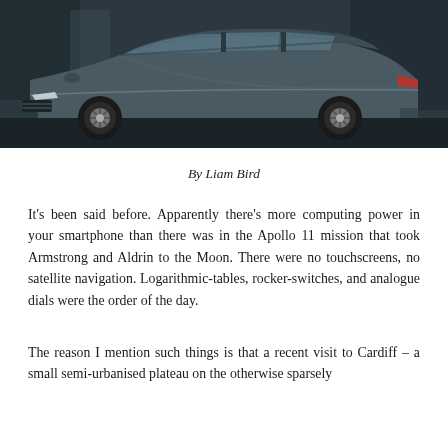[Figure (photo): Side profile of a dark grey Audi sedan/estate car parked on a street, photographed at low angle against an urban background]
By Liam Bird
It's been said before. Apparently there's more computing power in your smartphone than there was in the Apollo 11 mission that took Armstrong and Aldrin to the Moon. There were no touchscreens, no satellite navigation. Logarithmic-tables, rocker-switches, and analogue dials were the order of the day.
The reason I mention such things is that a recent visit to Cardiff – a small semi-urbanised plateau on the otherwise sparsely